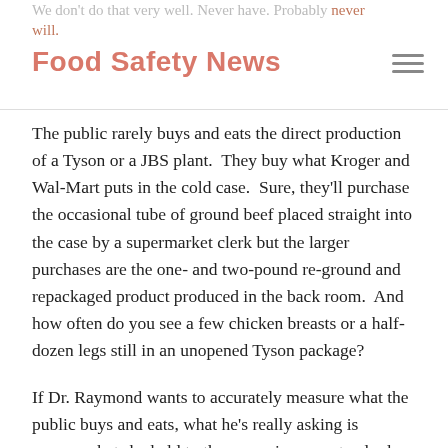We don't do that very well. Never have. Probably never will.
Food Safety News
The public rarely buys and eats the direct production of a Tyson or a JBS plant.  They buy what Kroger and Wal-Mart puts in the cold case.  Sure, they'll purchase the occasional tube of ground beef placed straight into the case by a supermarket clerk but the larger purchases are the one- and two-pound re-ground and repackaged product produced in the back room.  And how often do you see a few chicken breasts or a half-dozen legs still in an unopened Tyson package?
If Dr. Raymond wants to accurately measure what the public buys and eats, what he's really asking is supermarkets be held to the same rigorous standards as Tyson.  It's something that industry has stoutly